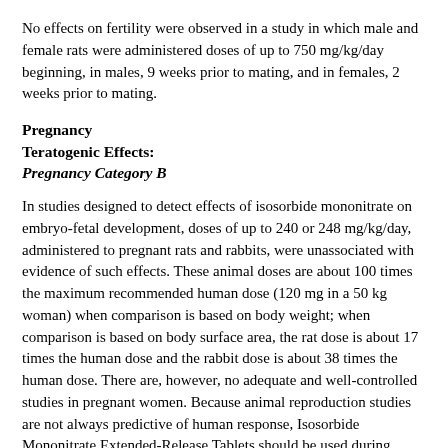No effects on fertility were observed in a study in which male and female rats were administered doses of up to 750 mg/kg/day beginning, in males, 9 weeks prior to mating, and in females, 2 weeks prior to mating.
Pregnancy
Teratogenic Effects:
Pregnancy Category B
In studies designed to detect effects of isosorbide mononitrate on embryo-fetal development, doses of up to 240 or 248 mg/kg/day, administered to pregnant rats and rabbits, were unassociated with evidence of such effects. These animal doses are about 100 times the maximum recommended human dose (120 mg in a 50 kg woman) when comparison is based on body weight; when comparison is based on body surface area, the rat dose is about 17 times the human dose and the rabbit dose is about 38 times the human dose. There are, however, no adequate and well-controlled studies in pregnant women. Because animal reproduction studies are not always predictive of human response, Isosorbide Mononitrate Extended-Release Tablets should be used during pregnancy only if clearly needed.
Nonteratogenic Effects
Neonatal survival and development and incidence of stillbirths